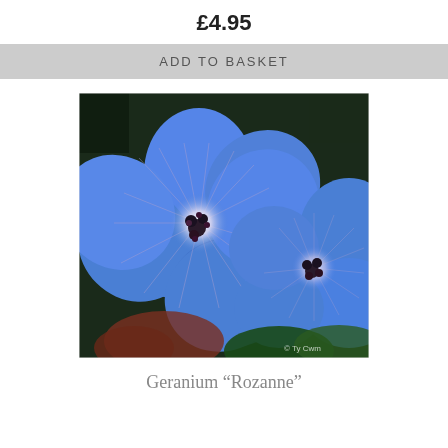£4.95
ADD TO BASKET
[Figure (photo): Close-up photograph of two blue Geranium Rozanne flowers with white and dark purple centers and radiating veins, with green and red-brown foliage in background. Watermark reads '© Ty Cwm']
Geranium “Rozanne”